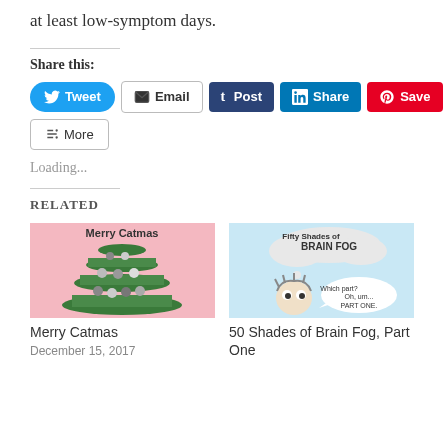at least low-symptom days.
Share this:
[Figure (screenshot): Social sharing buttons: Tweet, Email, Post (Tumblr), Share (LinkedIn), Save (Pinterest) with count 20, and More]
Loading...
RELATED
[Figure (illustration): Merry Catmas illustration showing cats stacked on green surfaces on a pink background]
Merry Catmas
December 15, 2017
[Figure (illustration): Fifty Shades of Brain Fog illustration with a cartoon character and speech bubble saying Which part? Oh, um... PART ONE.]
50 Shades of Brain Fog, Part One